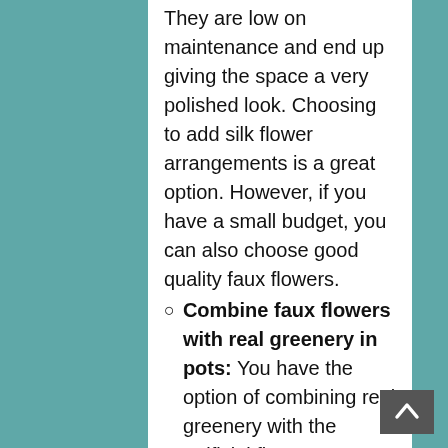They are low on maintenance and end up giving the space a very polished look. Choosing to add silk flower arrangements is a great option. However, if you have a small budget, you can also choose good quality faux flowers.
Combine faux flowers with real greenery in pots: You have the option of combining real greenery with the artificial flowers to enhance the flower arrangements of your hallways and the potted plants. This option will give you the benefits of both the silk and real flower arrangements.